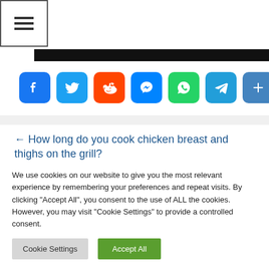[Figure (screenshot): Hamburger menu button icon in top-left corner with three horizontal bars]
[Figure (infographic): Row of social sharing icon buttons: Facebook, Twitter, Reddit, Messenger, WhatsApp, Telegram, Share]
← How long do you cook chicken breast and thighs on the grill?
We use cookies on our website to give you the most relevant experience by remembering your preferences and repeat visits. By clicking "Accept All", you consent to the use of ALL the cookies. However, you may visit "Cookie Settings" to provide a controlled consent.